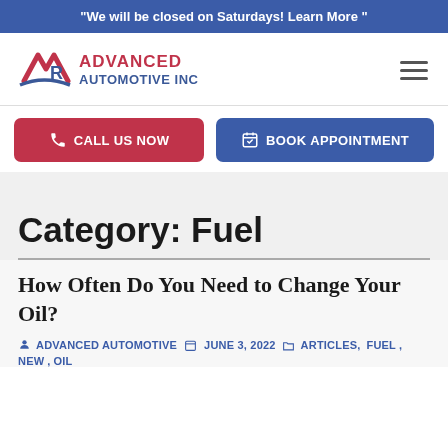"We will be closed on Saturdays! Learn More "
[Figure (logo): Advanced Automotive Inc logo with stylized red and blue AR monogram and text]
CALL US NOW
BOOK APPOINTMENT
Category: Fuel
How Often Do You Need to Change Your Oil?
ADVANCED AUTOMOTIVE   JUNE 3, 2022   ARTICLES, FUEL , NEW, OIL